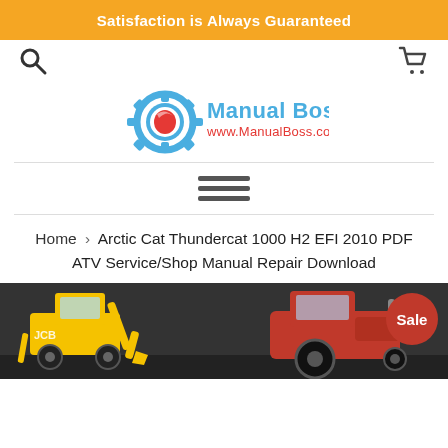Satisfaction is Always Guaranteed
[Figure (logo): Manual Boss logo with gear wrench icon and text 'Manual Boss www.ManualBoss.com']
[Figure (other): Hamburger menu icon (three horizontal lines)]
Home › Arctic Cat Thundercat 1000 H2 EFI 2010 PDF ATV Service/Shop Manual Repair Download
[Figure (photo): Product image showing a yellow JCB backhoe loader and a red tractor on a dark background, with a red 'Sale' badge in the top right corner]